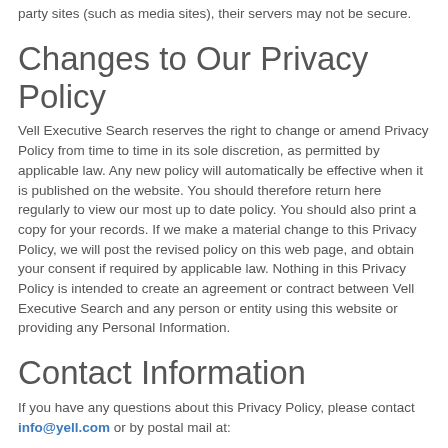party sites (such as media sites), their servers may not be secure.
Changes to Our Privacy Policy
Vell Executive Search reserves the right to change or amend Privacy Policy from time to time in its sole discretion, as permitted by applicable law. Any new policy will automatically be effective when it is published on the website. You should therefore return here regularly to view our most up to date policy. You should also print a copy for your records. If we make a material change to this Privacy Policy, we will post the revised policy on this web page, and obtain your consent if required by applicable law. Nothing in this Privacy Policy is intended to create an agreement or contract between Vell Executive Search and any person or entity using this website or providing any Personal Information.
Contact Information
If you have any questions about this Privacy Policy, please contact info@yell.com or by postal mail at: